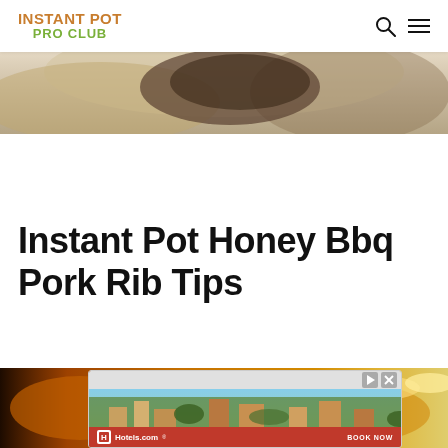INSTANT POT PRO CLUB
[Figure (photo): Partial view of cooked meat dish, close-up hero image at top of page]
Instant Pot Honey Bbq Pork Rib Tips
[Figure (photo): Bottom portion of food photo showing glazed pork rib tips with orange-gold sauce, with Hotels.com advertisement overlay showing aerial view of resort with Book Now button]